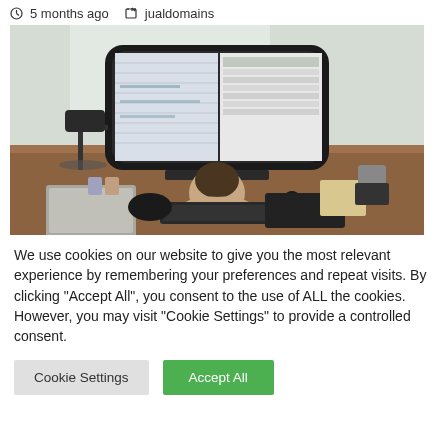5 months ago   jualdomains
[Figure (photo): Person seen from behind sitting at a desk with a large curved ultrawide monitor displaying spreadsheets and documents, with keyboard, mouse, laptop, gamepad, calculator, and desk accessories visible.]
We use cookies on our website to give you the most relevant experience by remembering your preferences and repeat visits. By clicking "Accept All", you consent to the use of ALL the cookies. However, you may visit "Cookie Settings" to provide a controlled consent.
Cookie Settings
Accept All